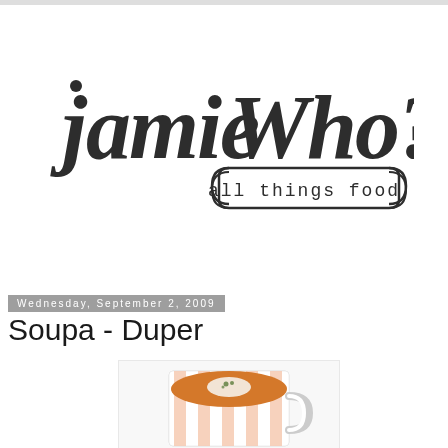[Figure (logo): Jamie Who? all things food - hand-drawn style logo with cursive text]
Wednesday, September 2, 2009
Soupa - Duper
[Figure (photo): A bowl/mug of orange-colored soup (likely pumpkin or butternut squash) with cream and herb garnish, in a striped ceramic cup on a white background]